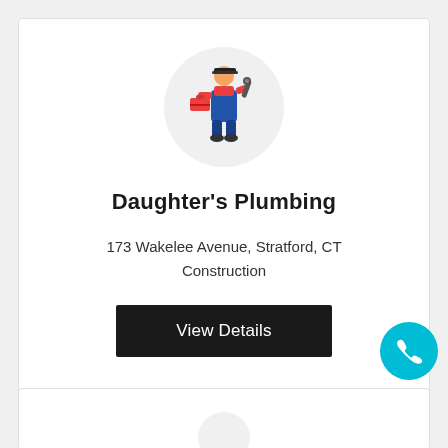[Figure (illustration): Plumber/handyman icon: person in blue overalls and orange shirt holding a toolbox and wrench, inside a light gray circle]
Daughter's Plumbing
173 Wakelee Avenue, Stratford, CT
Construction
View Details
[Figure (illustration): Teal/cyan circular phone call button with white phone handset icon]